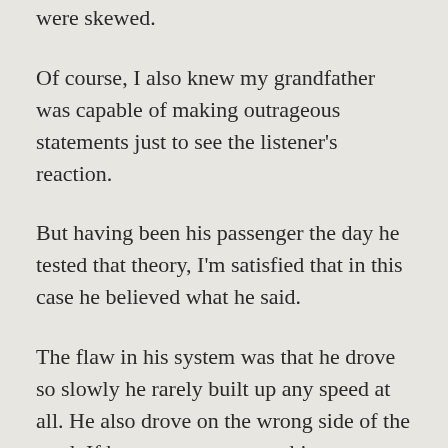were skewed.
Of course, I also knew my grandfather was capable of making outrageous statements just to see the listener's reaction.
But having been his passenger the day he tested that theory, I'm satisfied that in this case he believed what he said.
The flaw in his system was that he drove so slowly he rarely built up any speed at all. He also drove on the wrong side of the road. If he saw a car approaching,